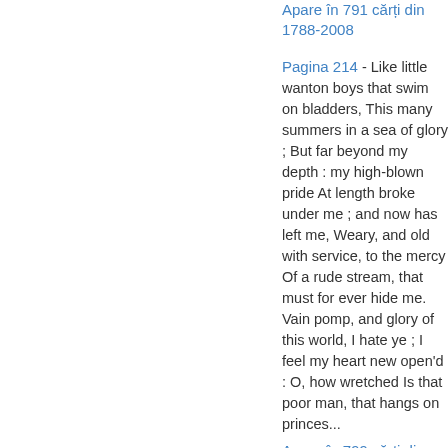Apare în 791 cărți din 1788-2008
Pagina 214 - Like little wanton boys that swim on bladders, This many summers in a sea of glory ; But far beyond my depth : my high-blown pride At length broke under me ; and now has left me, Weary, and old with service, to the mercy Of a rude stream, that must for ever hide me. Vain pomp, and glory of this world, I hate ye ; I feel my heart new open'd : O, how wretched Is that poor man, that hangs on princes...
Apare în 799 cărți din 1709-2008